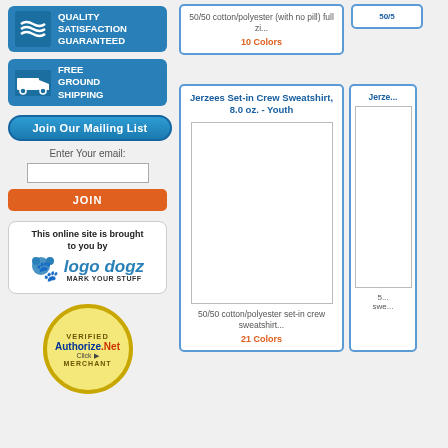[Figure (logo): Quality Satisfaction Guaranteed blue badge]
[Figure (logo): Free Ground Shipping blue badge]
[Figure (infographic): Join Our Mailing List section with email input and JOIN button]
[Figure (logo): Logo Dogz - This online site is brought to you by logo dogz mark your stuff]
[Figure (logo): Authorize.Net Verified Merchant seal]
50/50 cotton/polyester (with no pill) full zi...
10 Colors
Jerzees Set-in Crew Sweatshirt, 8.0 oz. - Youth
50/50 cotton/polyester set-in crew sweatshirt...
21 Colors
Jerze...
5... swe...